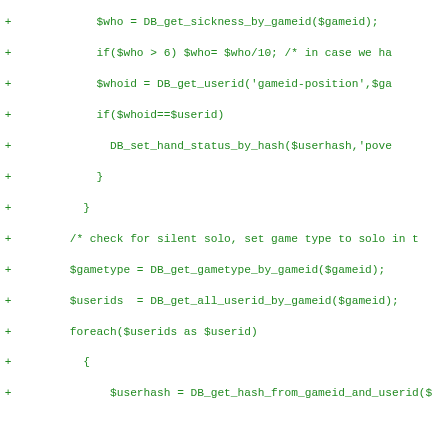[Figure (screenshot): Code diff view showing PHP code additions (green, marked with +) and deletions (red, marked with -). The code deals with game logic including sickness checks, gametype retrieval, solo game detection, wedding checks, and email sending.]